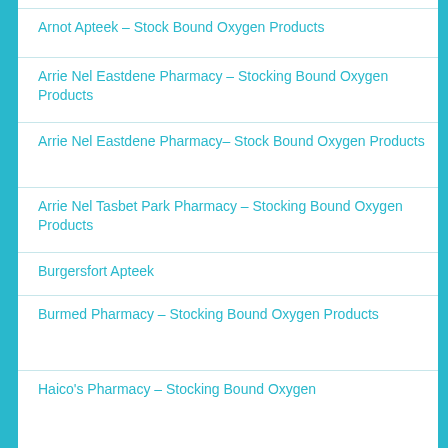Arnot Apteek – Stock Bound Oxygen Products
Arrie Nel Eastdene Pharmacy – Stocking Bound Oxygen Products
Arrie Nel Eastdene Pharmacy– Stock Bound Oxygen Products
Arrie Nel Tasbet Park Pharmacy – Stocking Bound Oxygen Products
Burgersfort Apteek
Burmed Pharmacy – Stocking Bound Oxygen Products
Haico's Pharmacy – Stocking Bound Oxygen